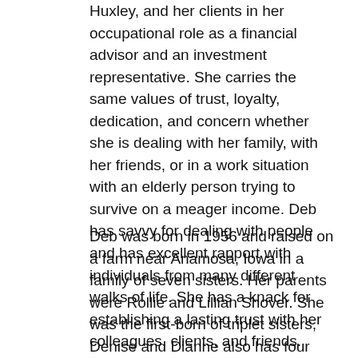Huxley, and her clients in her occupational role as a financial advisor and an investment representative. She carries the same values of trust, loyalty, dedication, and concern whether she is dealing with her family, with her friends, or in a work situation with an elderly person trying to survive on a meager income. Deb has savvy for dealing with people and has excellent rapport with individuals from many different walks of life. She has a knack for establishing a lasting trust with her colleagues, clients, and friends.
Deb was born in 1956 and raised on a farm near Anamosa, Iowa in a family of seven sisters. Her parents were Rollie and Lillian Shover. She was the first-born of triplet sisters, Denise and Dianne also has four older sisters, Shirley, Connie, Cathy, and Marilyn. Deb's childhood prepared her well for her role in life. The trust and empathy learned